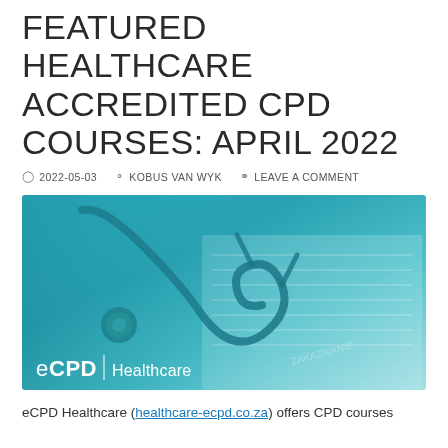FEATURED HEALTHCARE ACCREDITED CPD COURSES: APRIL 2022
2022-05-03   KOBUS VAN WYK   LEAVE A COMMENT
[Figure (photo): Stethoscope and medical documents on a teal/cyan tinted background with eCPD Healthcare logo overlay at bottom left]
eCPD Healthcare (healthcare-ecpd.co.za) offers CPD courses accredited by the HP CSA, HP CSB and HP CSA and HP CSB